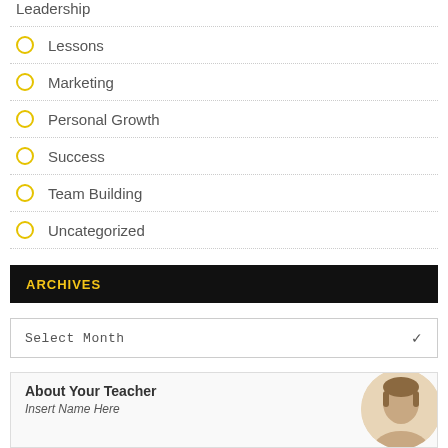Leadership
Lessons
Marketing
Personal Growth
Success
Team Building
Uncategorized
ARCHIVES
Select Month
About Your Teacher
Insert Name Here